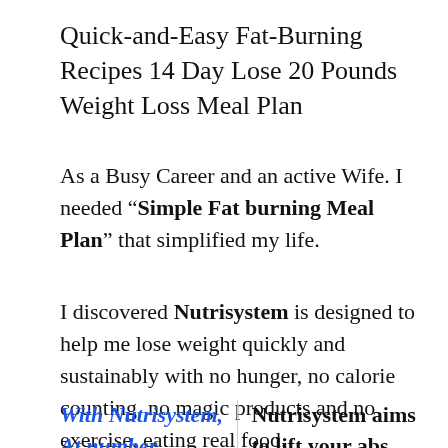Quick-and-Easy Fat-Burning Recipes 14 Day Lose 20 Pounds Weight Loss Meal Plan
As a Busy Career and an active Wife. I needed “Simple Fat burning Meal Plan” that simplified my life.
I discovered Nutrisystem is designed to help me lose weight quickly and sustainably with no hunger, no calorie counting, no magic products and no exercise, eating real food.
With Nutrisystem,
Nutrisystem aims